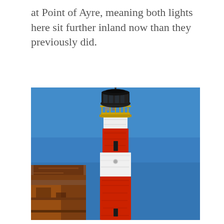at Point of Ayre, meaning both lights here sit further inland now than they previously did.
[Figure (photo): A red and white striped lighthouse photographed from below against a bright blue sky. The lighthouse has a black lantern room at the top with a gold/yellow gallery railing. An old rusted building is visible at the lower left. The tower shows horizontal bands of red and white brick.]